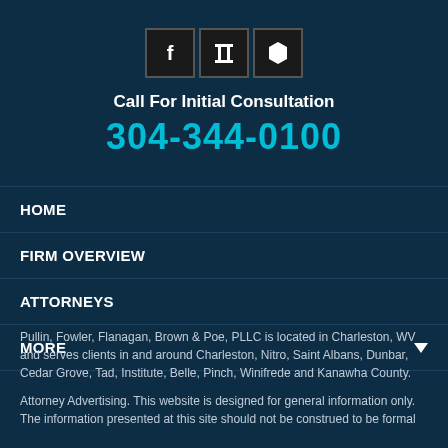[Figure (other): Three social media / directory icon buttons: Facebook (f), a column/pillar icon, and a hexagon icon, displayed as dark square buttons with borders]
Call For Initial Consultation
304-344-0100
HOME
FIRM OVERVIEW
ATTORNEYS
MORE
Pullin, Fowler, Flanagan, Brown & Poe, PLLC is located in Charleston, WV and serves clients in and around Charleston, Nitro, Saint Albans, Dunbar, Cedar Grove, Tad, Institute, Belle, Pinch, Winifrede and Kanawha County.
Attorney Advertising. This website is designed for general information only. The information presented at this site should not be construed to be formal legal advice nor the formation of a lawyer/client relationship. [Site Map]